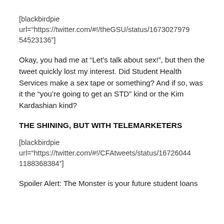[blackbirdpie url="https://twitter.com/#!/theGSU/status/167302797954523136"]
Okay, you had me at “Let’s talk about sex!”, but then the tweet quickly lost my interest. Did Student Health Services make a sex tape or something? And if so, was it the “you’re going to get an STD” kind or the Kim Kardashian kind?
THE SHINING, BUT WITH TELEMARKETERS
[blackbirdpie url="https://twitter.com/#!/CFAtweets/status/167260441188368384"]
Spoiler Alert: The Monster is your future student loans